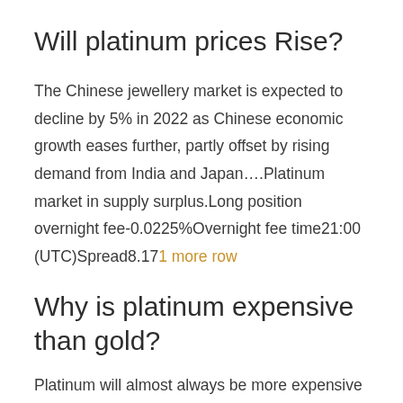Will platinum prices Rise?
The Chinese jewellery market is expected to decline by 5% in 2022 as Chinese economic growth eases further, partly offset by rising demand from India and Japan….Platinum market in supply surplus.Long position overnight fee-0.0225%Overnight fee time21:00 (UTC)Spread8.171 more row
Why is platinum expensive than gold?
Platinum will almost always be more expensive than